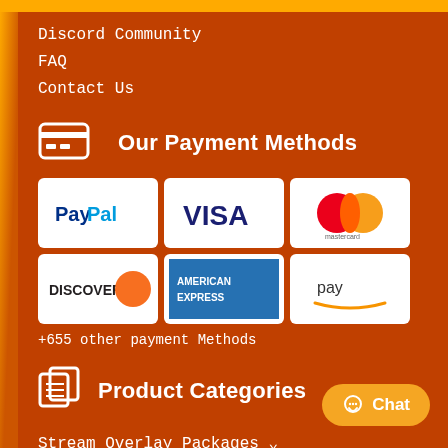Discord Community
FAQ
Contact Us
Our Payment Methods
[Figure (logo): Payment method logos: PayPal, VISA, Mastercard, Discover, American Express, Amazon Pay]
+655 other payment Methods
Product Categories
Stream Overlay Packages ∨
Make Your Own ∨
Sub Emotes & Badges ∨
Stream Design Elements ∨
Call of Duty Stream Overlay Packages